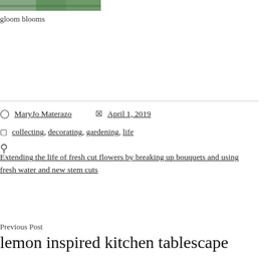[Figure (photo): Partial photo of green blooms/flowers, cropped at top of page]
gloom blooms
MaryJo Materazo   April 1, 2019
collecting, decorating, gardening, life
Extending the life of fresh cut flowers by breaking up bouquets and using fresh water and new stem cuts
Previous Post
lemon inspired kitchen tablescape